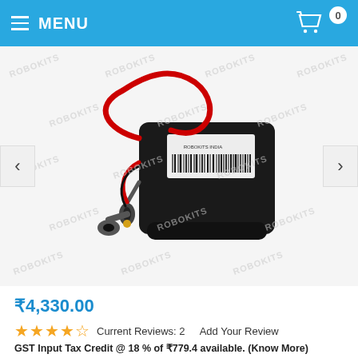MENU
[Figure (photo): Black battery pack with red wires and a DC barrel connector, with a ROBOKITS INDIA barcode label on top. Watermark 'ROBOKITS' repeated across the image.]
₹4,330.00
★★★★½  Current Reviews: 2    Add Your Review
GST Input Tax Credit @ 18 % of ₹779.4 available. (Know More)